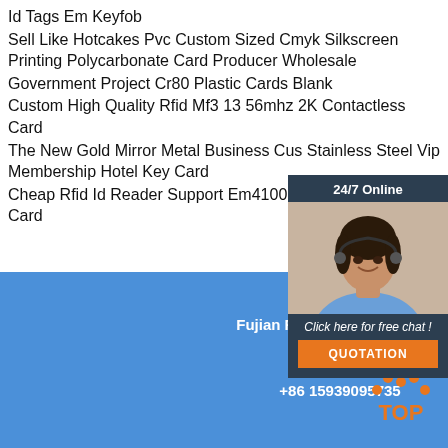Id Tags Em Keyfob
Sell Like Hotcakes Pvc Custom Sized Cmyk Silkscreen Printing Polycarbonate Card Producer Wholesale
Government Project Cr80 Plastic Cards Blank
Custom High Quality Rfid Mf3 13 56mhz 2K Contactless Card
The New Gold Mirror Metal Business Cus Stainless Steel Vip Membership Hotel Key Card
Cheap Rfid Id Reader Support Em4100 Ic Support Mifare 1k Card
[Figure (photo): Customer service representative with headset, smiling. Header says '24/7 Online'. CTA says 'Click here for free chat!' with orange QUOTATION button.]
Company name
Fujian RFID Solution Co., Ltd
Mob
+86 15939095735
[Figure (logo): TOP logo with orange dots arranged in triangle, orange text 'TOP' on blue background]